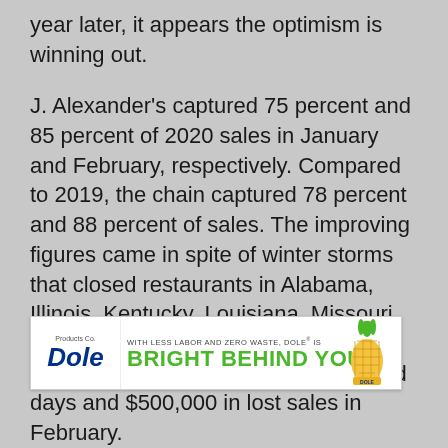year later, it appears the optimism is winning out.
J. Alexander's captured 75 percent and 85 percent of 2020 sales in January and February, respectively. Compared to 2019, the chain captured 78 percent and 88 percent of sales. The improving figures came in spite of winter storms that closed restaurants in Alabama, Illinois, Kentucky, Louisiana, Missouri, Ohio, Tennessee, and Texas. The weather resulted in a total of 54 closed days and $500,000 in lost sales in February.
On February 7, restaurants were operating at an average capacity of roughly 60 percent. As of March 12, the average capacity has risen to appro...
[Figure (infographic): Dole advertisement banner: 'WITH LESS LABOR AND ZERO WASTE, DOLE® IS BRIGHT BEHIND YOU.' with Dole logo and pineapple can imagery.]
"Given the recent announcements easing...